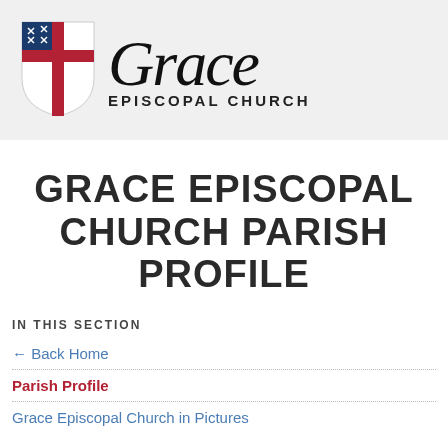[Figure (logo): Grace Episcopal Church logo with Episcopal shield/cross emblem on the left and 'Grace' in large italic script with 'EPISCOPAL CHURCH' in small caps below]
GRACE EPISCOPAL CHURCH PARISH PROFILE
IN THIS SECTION
← Back Home
Parish Profile
Grace Episcopal Church in Pictures